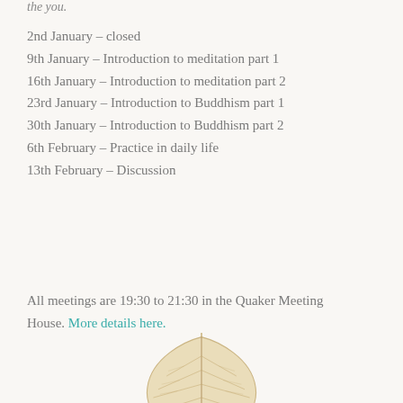the you.
2nd January – closed
9th January – Introduction to meditation part 1
16th January – Introduction to meditation part 2
23rd January – Introduction to Buddhism part 1
30th January – Introduction to Buddhism part 2
6th February – Practice in daily life
13th February – Discussion
All meetings are 19:30 to 21:30 in the Quaker Meeting House. More details here.
[Figure (photo): A skeletal dried leaf (Bodhi leaf) shown against a light cream background, with visible vein structure.]